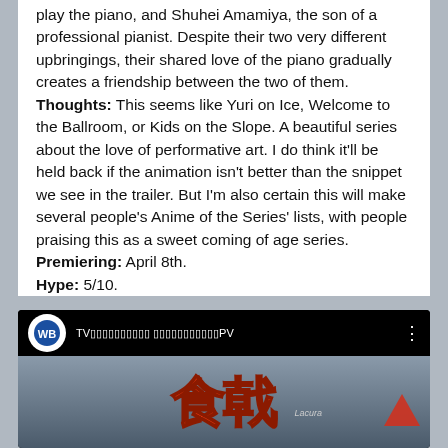play the piano, and Shuhei Amamiya, the son of a professional pianist. Despite their two very different upbringings, their shared love of the piano gradually creates a friendship between the two of them. Thoughts: This seems like Yuri on Ice, Welcome to the Ballroom, or Kids on the Slope. A beautiful series about the love of performative art. I do think it'll be held back if the animation isn't better than the snippet we see in the trailer. But I'm also certain this will make several people's Anime of the Series' lists, with people praising this as a sweet coming of age series. Premiering: April 8th. Hype: 5/10.
[Figure (screenshot): YouTube video thumbnail showing a Warner Bros. channel video titled 'TV...PV' with Japanese kanji text '食戟' on a grey gradient background, and a red upward arrow in the bottom right.]